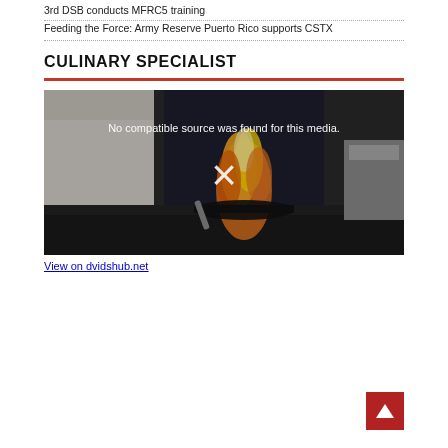3rd DSB conducts MFRC5 training
Feeding the Force: Army Reserve Puerto Rico supports CSTX
CULINARY SPECIALIST
[Figure (photo): Video player showing a chef cooking with large flames in a pan on a stovetop. Overlay text reads 'No compatible source was found for this media.' with a large X in the center.]
View on dvidshub.net